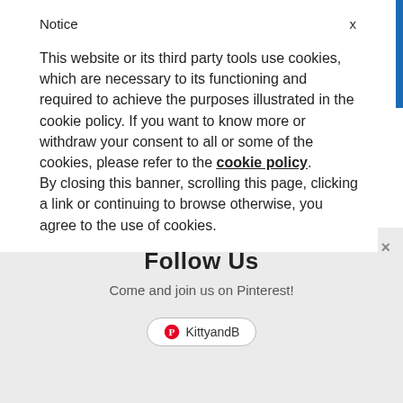Notice
This website or its third party tools use cookies, which are necessary to its functioning and required to achieve the purposes illustrated in the cookie policy. If you want to know more or withdraw your consent to all or some of the cookies, please refer to the cookie policy.
By closing this banner, scrolling this page, clicking a link or continuing to browse otherwise, you agree to the use of cookies.
same way as black as a canvas colour, but it just gives that subtle hint of something extra. I think of it like denim. You can pair any colour with denim and navy wears the same. Here's some navy outfits inspired by my trip to
Follow Us
Come and join us on Pinterest!
KittyandB